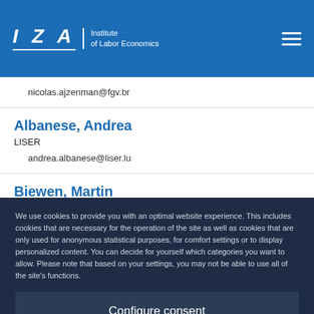[Figure (logo): IZA Institute of Labor Economics logo with white text on blue header background, hamburger menu icon top right]
nicolas.ajzenman@fgv.br
Albanese, Andrea
LISER
andrea.albanese@liser.lu
Biewen, Martin
We use cookies to provide you with an optimal website experience. This includes cookies that are necessary for the operation of the site as well as cookies that are only used for anonymous statistical purposes, for comfort settings or to display personalized content. You can decide for yourself which categories you want to allow. Please note that based on your settings, you may not be able to use all of the site's functions.
Configure consent
Accept all
Bratti, Massimiliano